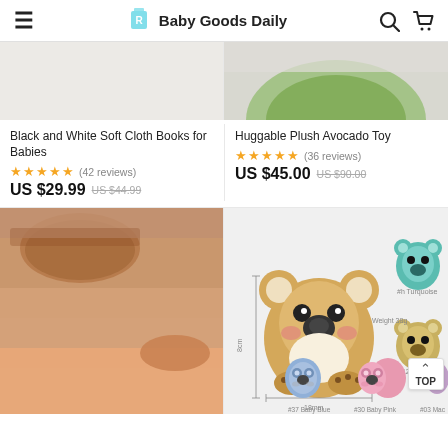Baby Goods Daily
[Figure (photo): Partial top of Black and White Soft Cloth Books product image]
[Figure (photo): Partial top of Huggable Plush Avocado Toy product image showing green avocado]
Black and White Soft Cloth Books for Babies
Huggable Plush Avocado Toy
★★★★★ (42 reviews)
★★★★★ (36 reviews)
US $29.99  US $44.99
US $45.00  US $90.00
[Figure (photo): Maternity/postpartum shaping underwear worn by a woman, nude/peach color]
[Figure (photo): Koala bear silicone teether toy shown in multiple colors: beige, teal, khaki, blue, pink, mauve, with dimensions 18mm width and weight 38g]